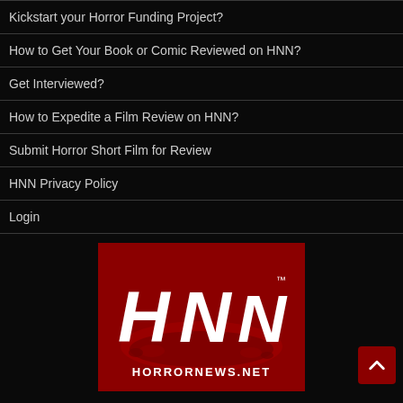Kickstart your Horror Funding Project?
How to Get Your Book or Comic Reviewed on HNN?
Get Interviewed?
How to Expedite a Film Review on HNN?
Submit Horror Short Film for Review
HNN Privacy Policy
Login
[Figure (logo): HNN HorrorNews.net logo on dark red background with dripping blood effect]